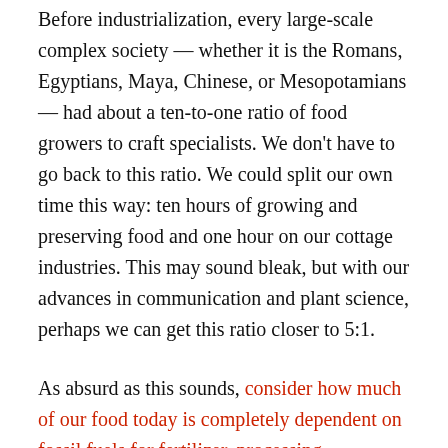Before industrialization, every large-scale complex society — whether it is the Romans, Egyptians, Maya, Chinese, or Mesopotamians — had about a ten-to-one ratio of food growers to craft specialists. We don't have to go back to this ratio. We could split our own time this way: ten hours of growing and preserving food and one hour on our cottage industries. This may sound bleak, but with our advances in communication and plant science, perhaps we can get this ratio closer to 5:1.
As absurd as this sounds, consider how much of our food today is completely dependent on fossil fuels for fertilizer, processing, transportation, etc. Without the concentrated source of energy, our labor increases greatly. In five years, we won't be able to build all-electric tractors; think of the mining and production alone. We can, though, create enough self-reproducing